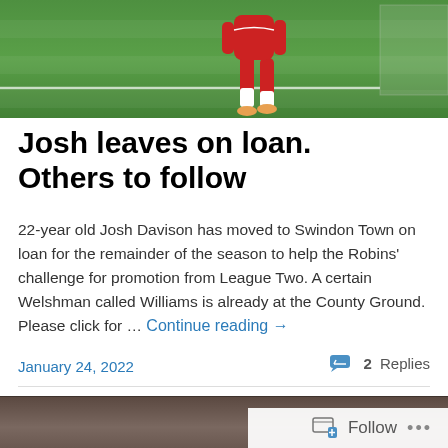[Figure (photo): Football player in red kit on green pitch near goal]
Josh leaves on loan. Others to follow
22-year old Josh Davison has moved to Swindon Town on loan for the remainder of the season to help the Robins' challenge for promotion from League Two. A certain Welshman called Williams is already at the County Ground. Please click for … Continue reading →
January 24, 2022
2 Replies
[Figure (photo): Partially visible image at bottom of page, dark tones]
Follow